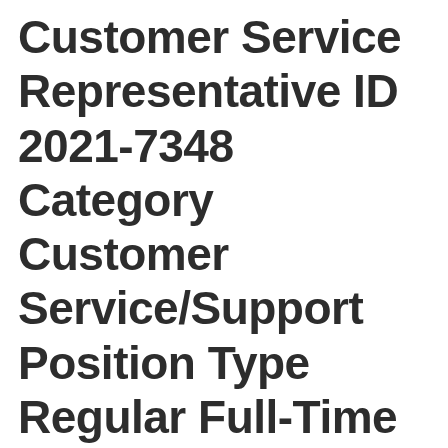Customer Service Representative ID 2021-7348 Category Customer Service/Support Position Type Regular Full-Time Location US-TN-NASHVILLE